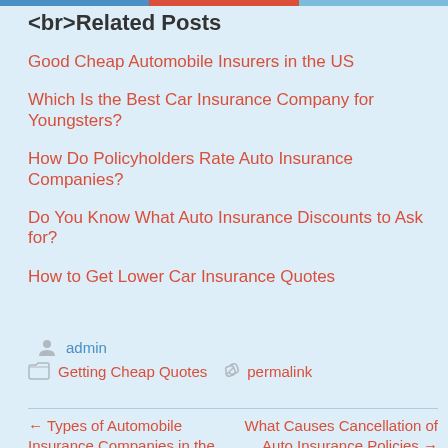<br>Related Posts
Good Cheap Automobile Insurers in the US
Which Is the Best Car Insurance Company for Youngsters?
How Do Policyholders Rate Auto Insurance Companies?
Do You Know What Auto Insurance Discounts to Ask for?
How to Get Lower Car Insurance Quotes
admin
Getting Cheap Quotes  permalink
← Types of Automobile Insurance Companies in the
What Causes Cancellation of Auto Insurance Policies →